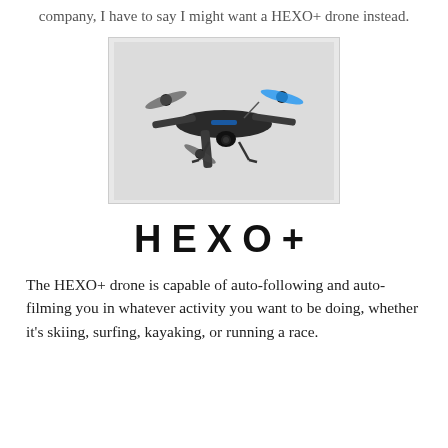company, I have to say I might want a HEXO+ drone instead.
[Figure (photo): A HEXO+ drone with multiple rotors, black body with blue propeller tips and a camera gimbal mounted underneath, photographed against a light gray background.]
[Figure (logo): HEXO+ logo in large bold black uppercase letters with wide letter-spacing]
The HEXO+ drone is capable of auto-following and auto-filming you in whatever activity you want to be doing, whether it's skiing, surfing, kayaking, or running a race.